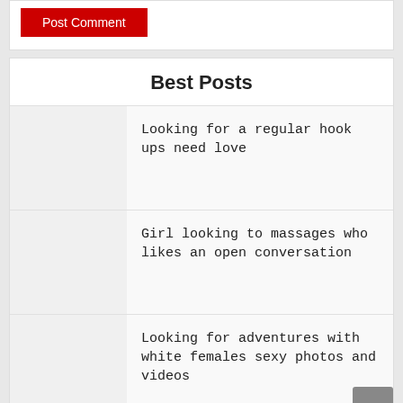[Figure (other): Red 'Post Comment' button]
Best Posts
Looking for a regular hook ups need love
Girl looking to massages who likes an open conversation
Looking for adventures with white females sexy photos and videos